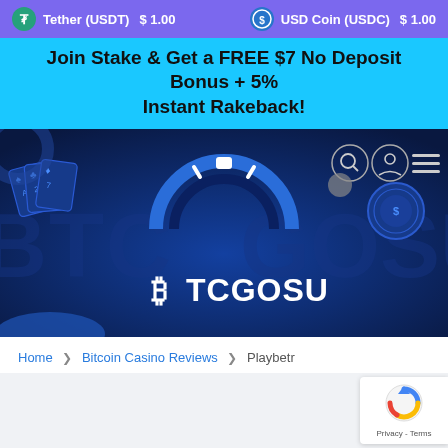Tether (USDT) $1.00   USD Coin (USDC) $1.00
Join Stake & Get a FREE $7 No Deposit Bonus + 5% Instant Rakeback!
[Figure (screenshot): BTCGOSU website hero banner showing the BTCGOSU logo (bitcoin chip icon above BTCGOSU text) on a dark blue background with playing card and chip graphics]
Home > Bitcoin Casino Reviews > Playbetr
[Figure (logo): reCAPTCHA badge showing the reCAPTCHA icon with Privacy - Terms text]